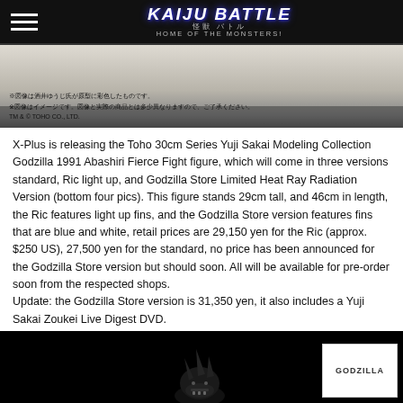Kaiju Battle 怪獣 バトル HOME OF THE MONSTERS!
[Figure (photo): Godzilla 1991 figure product image in grey/white tones with Japanese disclaimer text and TM & © TOHO CO., LTD.]
X-Plus is releasing the Toho 30cm Series Yuji Sakai Modeling Collection Godzilla 1991 Abashiri Fierce Fight figure, which will come in three versions standard, Ric light up, and Godzilla Store Limited Heat Ray Radiation Version (bottom four pics). This figure stands 29cm tall, and 46cm in length, the Ric features light up fins, and the Godzilla Store version features fins that are blue and white, retail prices are 29,150 yen for the Ric (approx. $250 US), 27,500 yen for the standard, no price has been announced for the Godzilla Store version but should soon. All will be available for pre-order soon from the respected shops.
Update: the Godzilla Store version is 31,350 yen, it also includes a Yuji Sakai Zoukei Live Digest DVD.
[Figure (photo): Godzilla figure on black background with a white GODZILLA label box in the bottom right corner]